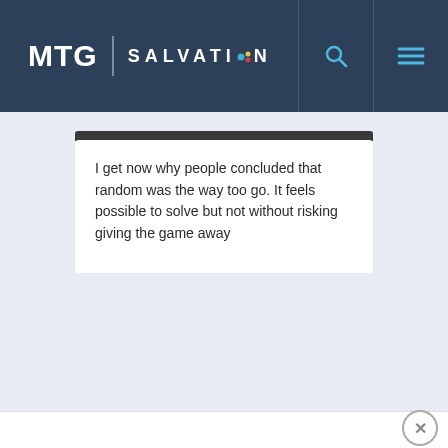MTG SALVATION
I get now why people concluded that random was the way too go. It feels possible to solve but not without risking giving the game away